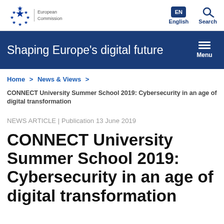European Commission | EN English | Search
Shaping Europe's digital future
Home > News & Views >
CONNECT University Summer School 2019: Cybersecurity in an age of digital transformation
NEWS ARTICLE | Publication 13 June 2019
CONNECT University Summer School 2019: Cybersecurity in an age of digital transformation